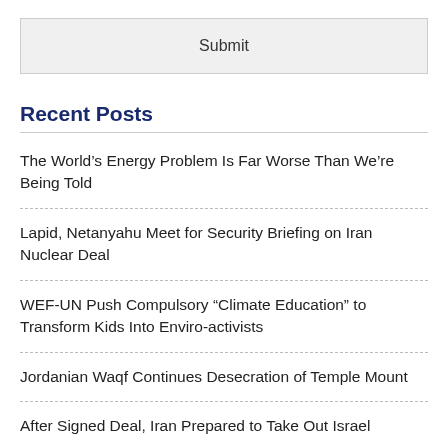Submit
Recent Posts
The World’s Energy Problem Is Far Worse Than We’re Being Told
Lapid, Netanyahu Meet for Security Briefing on Iran Nuclear Deal
WEF-UN Push Compulsory “Climate Education” to Transform Kids Into Enviro-activists
Jordanian Waqf Continues Desecration of Temple Mount
After Signed Deal, Iran Prepared to Take Out Israel
Recent Comments